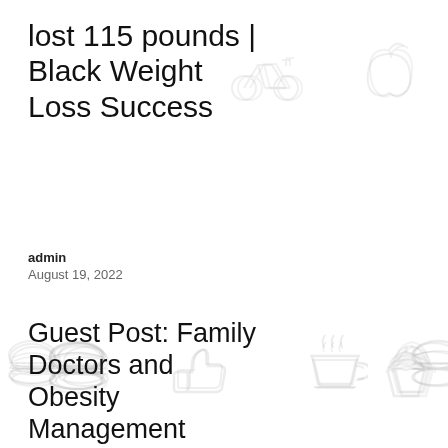lost 115 pounds | Black Weight Loss Success
admin · August 19, 2022
[Figure (illustration): Light gray decorative health/wellness icons scattered across page background: bicycle, apple, hamburger, thumbs up, coffee cup, another hamburger, mountain, book/rectangle, heart with pulse, muffin, leaf/tree, volleyball]
Guest Post: Family Doctors and Obesity Management